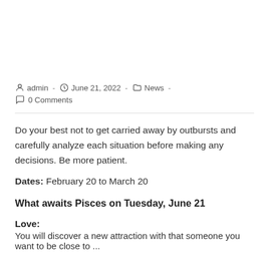admin  -  June 21, 2022  -  News  -
0 Comments
Do your best not to get carried away by outbursts and carefully analyze each situation before making any decisions. Be more patient.
Dates: February 20 to March 20
What awaits Pisces on Tuesday, June 21
Love:
You will discover a new attraction with that someone you want to be close to...